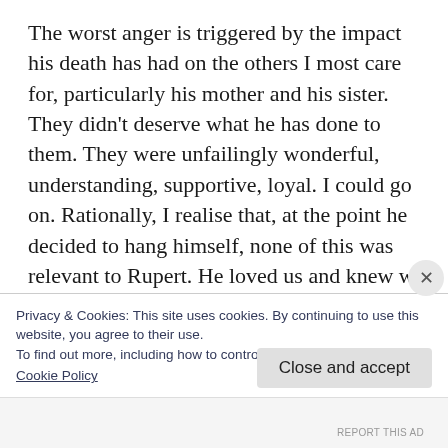The worst anger is triggered by the impact his death has had on the others I most care for, particularly his mother and his sister. They didn't deserve what he has done to them. They were unfailingly wonderful, understanding, supportive, loyal. I could go on. Rationally, I realise that, at the point he decided to hang himself, none of this was relevant to Rupert. He loved us and knew we loved him. But, like most people his age, at this stage of life it was all
Privacy & Cookies: This site uses cookies. By continuing to use this website, you agree to their use.
To find out more, including how to control cookies, see here:
Cookie Policy
Close and accept